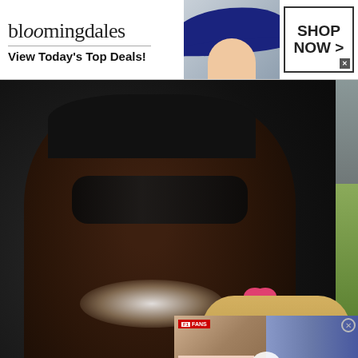[Figure (photo): Bloomingdales banner advertisement showing logo, 'View Today's Top Deals!', woman in blue hat, and SHOP NOW button]
[Figure (photo): Photo of a smiling Black man wearing sunglasses, black cap, and black outfit with red headphones around his neck, posing with a young blonde girl wearing a pink bow]
[Figure (screenshot): Video overlay showing Formula 1 related content with HAAS REVEAL CRITERIA FOR headline and play button]
[Pics] Girl Gives Garbage Ma
[Figure (screenshot): Nike advertisement: 'Nike. Just Do It' - Inspiring the world's athletes, Nike delivers the deals - www.nike.com, with arrow button]